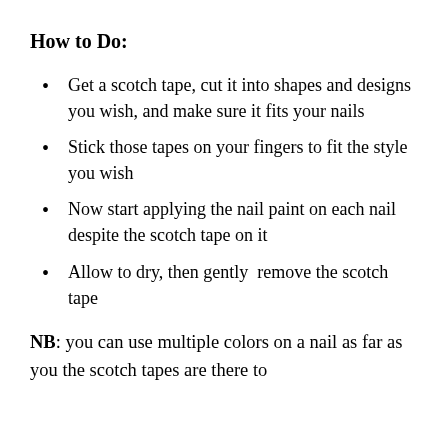How to Do:
Get a scotch tape, cut it into shapes and designs you wish, and make sure it fits your nails
Stick those tapes on your fingers to fit the style you wish
Now start applying the nail paint on each nail despite the scotch tape on it
Allow to dry, then gently  remove the scotch tape
NB: you can use multiple colors on a nail as far as you the scotch tapes are there to